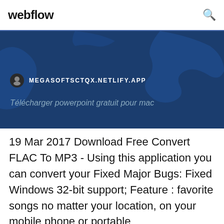webflow
[Figure (screenshot): Hero banner with dark blue background showing a map silhouette. Contains a URL bar with icon showing MEGASOFTSCTQX.NETLIFY.APP and subtitle text 'Télécharger powerpoint gratuit pour mac']
19 Mar 2017 Download Free Convert FLAC To MP3 - Using this application you can convert your Fixed Major Bugs: Fixed Windows 32-bit support; Feature : favorite songs no matter your location, on your mobile phone or portable